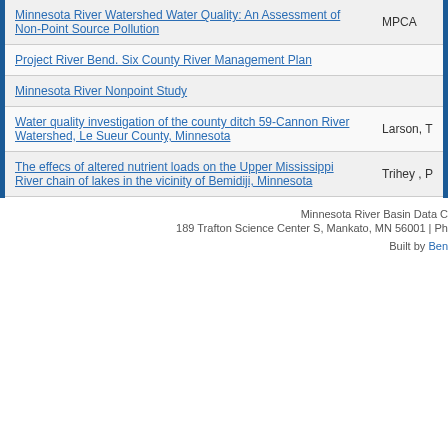| Title | Author |
| --- | --- |
| Minnesota River Watershed Water Quality: An Assessment of Non-Point Source Pollution | MPCA |
| Project River Bend. Six County River Management Plan |  |
| Minnesota River Nonpoint Study |  |
| Water quality investigation of the county ditch 59-Cannon River Watershed, Le Sueur County, Minnesota | Larson, T |
| The effecs of altered nutrient loads on the Upper Mississippi River chain of lakes in the vicinity of Bemidiji, Minnesota | Trihey , P |
Pagination: « first  ‹ previous  ...  32  33  34  35  [36]  37  38  39  40  ...
Minnesota River Basin Data C  189 Trafton Science Center S, Mankato, MN 56001 | Ph  Built by Ben